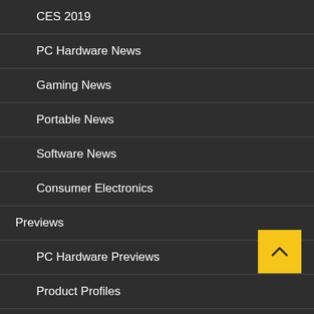CES 2019
PC Hardware News
Gaming News
Portable News
Software News
Consumer Electronics
Previews
PC Hardware Previews
Product Profiles
Games Previews